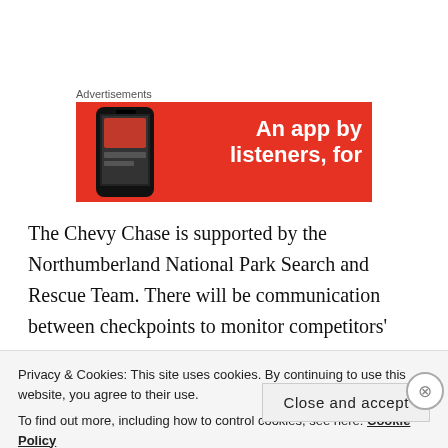Advertisements
[Figure (other): Red advertisement banner showing a phone and text 'An app by listeners, for']
The Chevy Chase is supported by the Northumberland National Park Search and Rescue Team. There will be communication between checkpoints to monitor competitors' progress. Our marshals are experienced volunteers who enjoing cheering you on and offering
Privacy & Cookies: This site uses cookies. By continuing to use this website, you agree to their use.
To find out more, including how to control cookies, see here: Cookie Policy
Close and accept